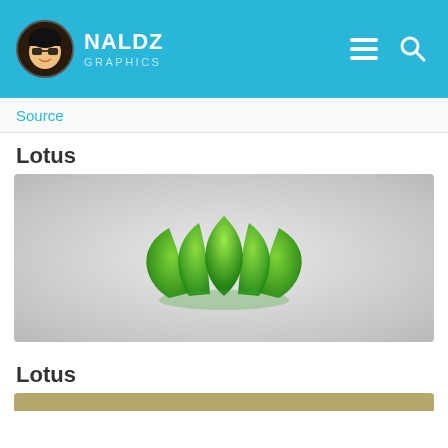[Figure (logo): Naldz Graphics website header with logo (cartoon face avatar), site name 'NALDZ GRAPHICS', hamburger menu icon, and search icon on a cyan/blue background]
Source
Lotus
[Figure (illustration): Green lotus flower icon on a light grey radial gradient background]
Lotus
[Figure (illustration): Partial view of a second lotus image with olive/tan background, cut off at bottom of page]